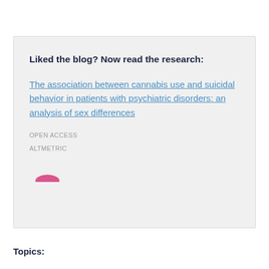Liked the blog? Now read the research:
The association between cannabis use and suicidal behavior in patients with psychiatric disorders: an analysis of sex differences
OPEN ACCESS
ALTMETRIC
[Figure (other): Altmetric badge/donut chart partially visible at bottom of box]
Topics: